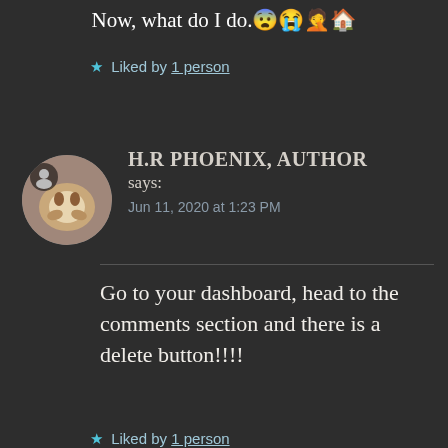Now, what do I do.😨😭🤦🏠
★ Liked by 1 person
[Figure (photo): Circular avatar photo of a cat being held by a person, with a user icon overlay]
H.R PHOENIX, AUTHOR
says:
Jun 11, 2020 at 1:23 PM
Go to your dashboard, head to the comments section and there is a delete button!!!!
★ Liked by 1 person
Advertisements
[Figure (infographic): Dark ad banner: circular icon with person/house symbol, teal text: Turn your blog into a money-making online course. Arrow pointing right.]